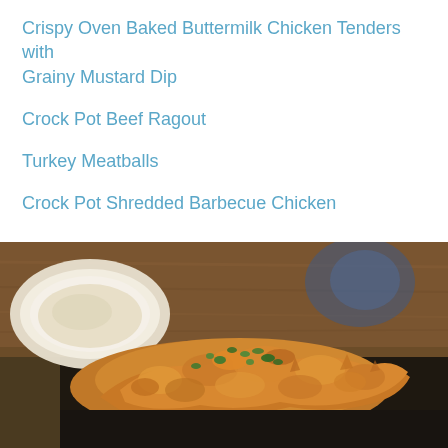Crispy Oven Baked Buttermilk Chicken Tenders with Grainy Mustard Dip
Crock Pot Beef Ragout
Turkey Meatballs
Crock Pot Shredded Barbecue Chicken
[Figure (photo): Close-up photo of crispy oven baked buttermilk chicken tenders with golden crispy coating garnished with fresh green herbs, served on a dark plate with a white bowl of dipping sauce visible in the background]